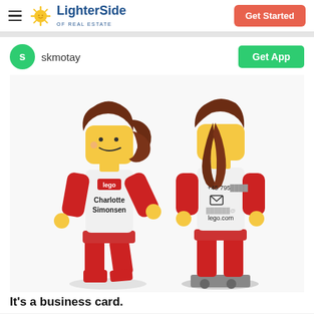LighterSide OF REAL ESTATE | Get Started
skmotay
[Figure (photo): Two views of a LEGO minifigure used as a business card. Front view shows the figure with brown hair, red outfit, and text reading 'Charlotte Simonsen' with a LEGO logo on the torso. Back view shows the figure's back with contact info: +45 7950 [blurred], envelope icon, blurred email @lego.com]
It's a business card.